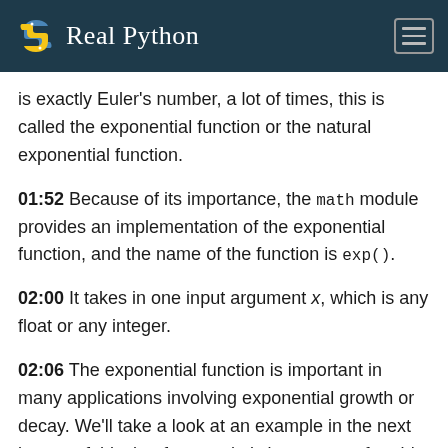Real Python
is exactly Euler's number, a lot of times, this is called the exponential function or the natural exponential function.
01:52 Because of its importance, the math module provides an implementation of the exponential function, and the name of the function is exp().
02:00 It takes in one input argument x, which is any float or any integer.
02:06 The exponential function is important in many applications involving exponential growth or decay. We'll take a look at an example in the next lesson of this, but for now, let's just get comfortable with the exponential function.